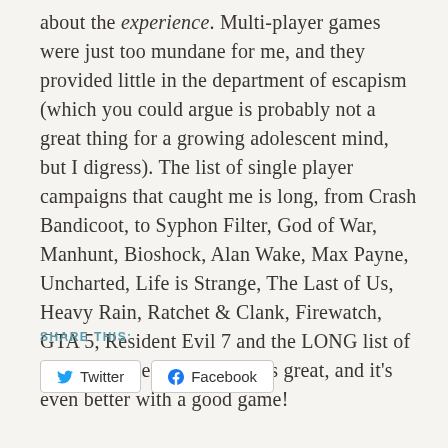about the experience. Multi-player games were just too mundane for me, and they provided little in the department of escapism (which you could argue is probably not a great thing for a growing adolescent mind, but I digress). The list of single player campaigns that caught me is long, from Crash Bandicoot, to Syphon Filter, God of War, Manhunt, Bioshock, Alan Wake, Max Payne, Uncharted, Life is Strange, The Last of Us, Heavy Rain, Ratchet & Clank, Firewatch, GTA 5, Resident Evil 7 and the LONG list of Telltale games. Alone time is great, and it's even better with a good game!
SHARE THIS:
Twitter   Facebook